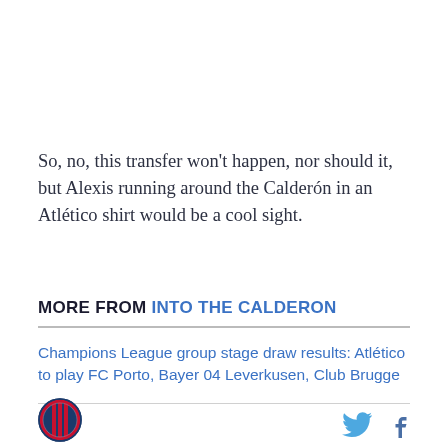So, no, this transfer won't happen, nor should it, but Alexis running around the Calderón in an Atlético shirt would be a cool sight.
MORE FROM INTO THE CALDERON
Champions League group stage draw results: Atlético to play FC Porto, Bayer 04 Leverkusen, Club Brugge
[Figure (logo): Atlético de Madrid circular crest logo in red and blue stripes]
[Figure (other): Twitter bird icon (blue) and Facebook f icon (dark blue) for social sharing]